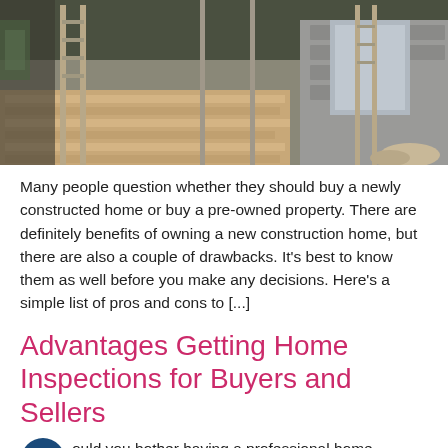[Figure (photo): Construction site with wooden planks, scaffolding, ladders, and partially built structure with cinder block walls]
Many people question whether they should buy a newly constructed home or buy a pre-owned property. There are definitely benefits of owning a new construction home, but there are also a couple of drawbacks. It's best to know them as well before you make any decisions. Here's a simple list of pros and cons to [...]
Advantages Getting Home Inspections for Buyers and Sellers
ould you bother having a professional home inspections on your current house or the new property you